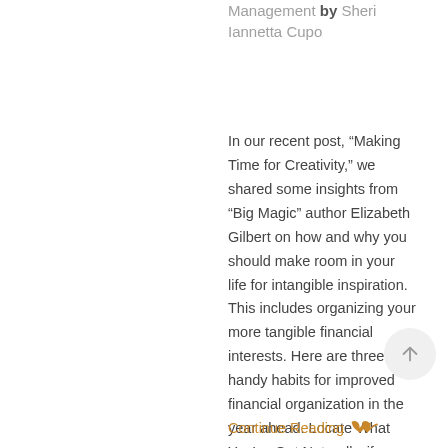Management by Sheri Iannetta Cupo
In our recent post, “Making Time for Creativity,” we shared some insights from “Big Magic” author Elizabeth Gilbert on how and why you should make room in your life for intangible inspiration. This includes organizing your more tangible financial interests. Here are three handy habits for improved financial organization in the year ahead. Locate What You’ve Got Naturally, if you don’t know what you own and where it’s held, it’s going...
Continue Reading